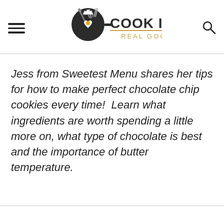COOK IT REAL GOOD
Jess from Sweetest Menu shares her tips for how to make perfect chocolate chip cookies every time!  Learn what ingredients are worth spending a little more on, what type of chocolate is best and the importance of butter temperature.